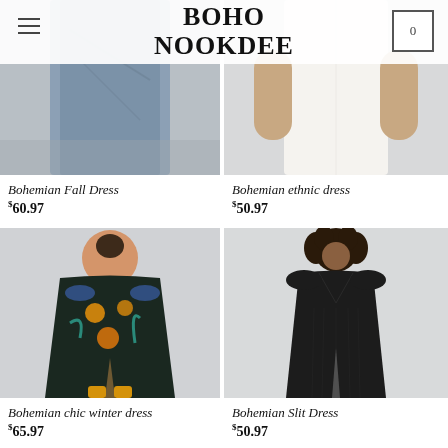BOHO NOOKDEE
[Figure (photo): Bohemian Fall Dress product photo - partial view of model in blue-grey dress]
[Figure (photo): Bohemian ethnic dress product photo - partial view of model in white dress]
Bohemian Fall Dress
$60.97
Bohemian ethnic dress
$50.97
[Figure (photo): Bohemian chic winter dress - model wearing dark floral embroidered dress with slit]
[Figure (photo): Bohemian Slit Dress - model wearing black maxi dress with slit]
Bohemian chic winter dress
$65.97
Bohemian Slit Dress
$50.97